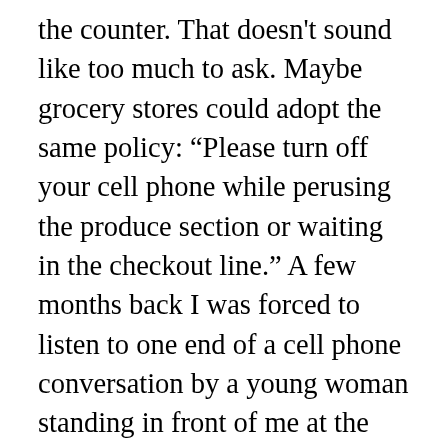the counter. That doesn't sound like too much to ask. Maybe grocery stores could adopt the same policy: “Please turn off your cell phone while perusing the produce section or waiting in the checkout line.” A few months back I was forced to listen to one end of a cell phone conversation by a young woman standing in front of me at the express line (nine items or less) in Safeway. “But you don’t respect me,” she said to the phone. “Whenever your friends are over, you don’t walk me out to the car